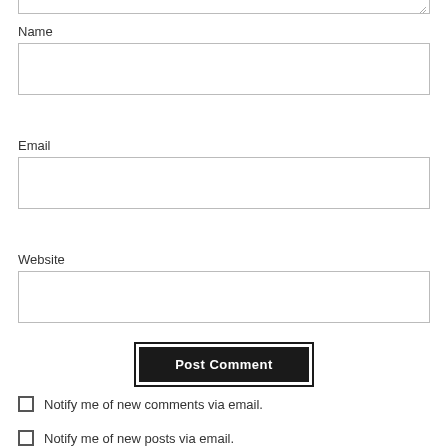Name
[Figure (other): Empty text input field for Name]
Email
[Figure (other): Empty text input field for Email]
Website
[Figure (other): Empty text input field for Website]
[Figure (other): Post Comment submit button, dark background with white text]
Notify me of new comments via email.
Notify me of new posts via email.